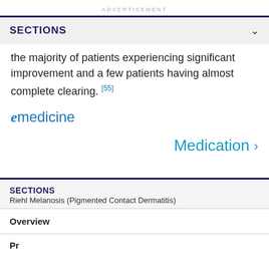ADVERTISEMENT
SECTIONS
the majority of patients experiencing significant improvement and a few patients having almost complete clearing. [55]
[Figure (logo): eMedicine logo in blue italic and sans-serif text]
Medication >
SECTIONS
Riehl Melanosis (Pigmented Contact Dermatitis)
Overview